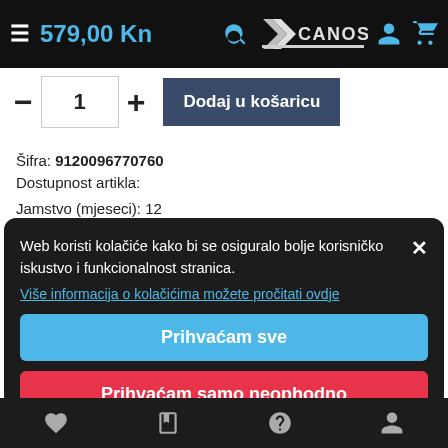579,00 Kn — CANOSA header with search, logo, user, cart icons
Šifra: 9120096770760
Dostupnost artikla:
Jamstvo (mjeseci): 12
Cijena dostave: 30,00 Kn  3,98 €
Web koristi kolačiće kako bi se osiguralo bolje korisničko iskustvo i funkcionalnost stranica.
Više informacija o kolačićima možete pročitati ovdje
Naša stranica ne prikazuje raspoloživost ili dostupnost artikala. Dostupnost provjeravamo nakon zaprimljenog upita ili narudžbe
Prihvaćam sve
Prihvaćam samo neophodno